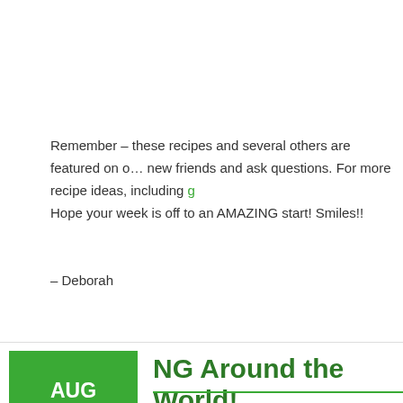Remember – these recipes and several others are featured on o… new friends and ask questions. For more recipe ideas, including g…
Hope your week is off to an AMAZING start! Smiles!!
– Deborah
NG Around the World!
[Figure (screenshot): Social sharing buttons: Tweet (Twitter/blue), Like 0 (Facebook/blue), Save (Pinterest/red), Yum (orange)]